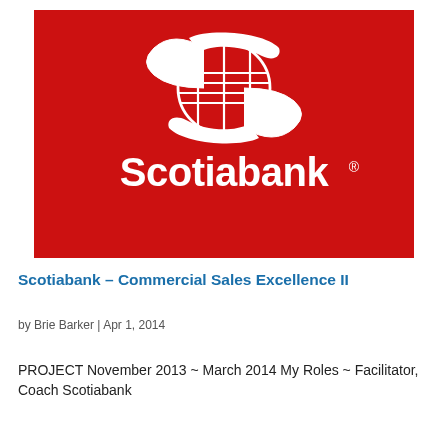[Figure (logo): Scotiabank logo on red background — white stylized S shape with globe, and 'Scotiabank' wordmark in white with registered trademark symbol]
Scotiabank – Commercial Sales Excellence II
by Brie Barker | Apr 1, 2014
PROJECT November 2013 ~ March 2014 My Roles ~ Facilitator, Coach Scotiabank